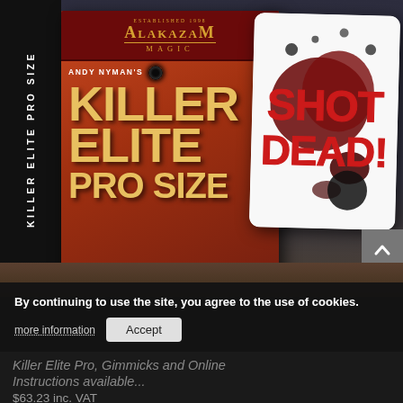[Figure (photo): Product photo showing the 'Killer Elite Pro Size' magic trick box by Alakazam Magic (Andy Nyman's Killer Elite Pro Size), alongside a white card with blood splatter design reading 'SHOT DEAD!' in red text on a dark wooden surface.]
By continuing to use the site, you agree to the use of cookies.
more information
Accept
Killer Elite Pro, Gimmicks and Online Instructions available...
$63.23 inc. VAT